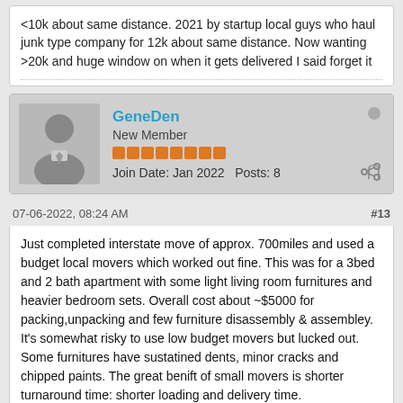<10k about same distance. 2021 by startup local guys who haul junk type company for 12k about same distance. Now wanting >20k and huge window on when it gets delivered I said forget it
GeneDen
New Member
Join Date: Jan 2022   Posts: 8
07-06-2022, 08:24 AM    #13
Just completed interstate move of approx. 700miles and used a budget local movers which worked out fine. This was for a 3bed and 2 bath apartment with some light living room furnitures and heavier bedroom sets. Overall cost about ~$5000 for packing,unpacking and few furniture disassembly & assembley. It's somewhat risky to use low budget movers but lucked out. Some furnitures have sustatined dents, minor cracks and chipped paints. The great benift of small movers is shorter turnaround time: shorter loading and delivery time.

I have had multiple interstate moves over the past 5 years but